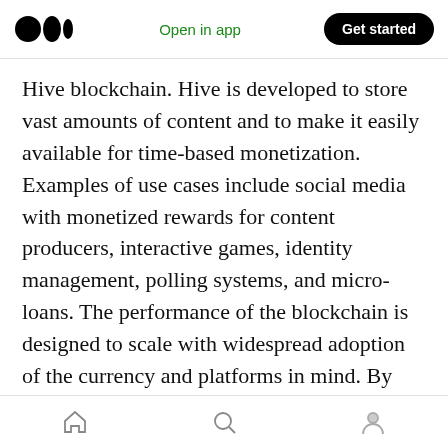Medium logo | Open in app | Get started
Hive blockchain. Hive is developed to store vast amounts of content and to make it easily available for time-based monetization. Examples of use cases include social media with monetized rewards for content producers, interactive games, identity management, polling systems, and micro-loans. The performance of the blockchain is designed to scale with widespread adoption of the currency and platforms in mind. By combining the lightning-fast processing times and fee-less transactions, Hive is positioned to become one of the leading blockchain
Home | Search | Profile